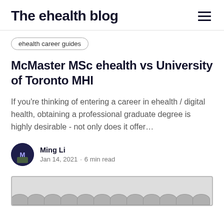The eHealth blog
ehealth career guides
McMaster MSc ehealth vs University of Toronto MHI
If you're thinking of entering a career in ehealth / digital health, obtaining a professional graduate degree is highly desirable - not only does it offer...
Ming Li
Jan 14, 2021 · 6 min read
[Figure (other): Partial thumbnail image of an article, showing a grey box with scalloped bottom pattern at the bottom of the page.]